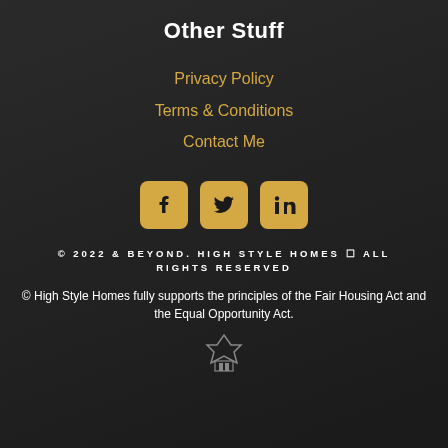Other Stuff
Privacy Policy
Terms & Conditions
Contact Me
[Figure (illustration): Three social media icon buttons: Facebook, Twitter, LinkedIn, styled with gold/amber rounded square backgrounds]
© 2022 & BEYOND. HIGH STYLE HOMES ⊠ ALL RIGHTS RESERVED
© High Style Homes fully supports the principles of the Fair Housing Act and the Equal Opportunity Act.
[Figure (logo): High Style Homes logo at bottom center]